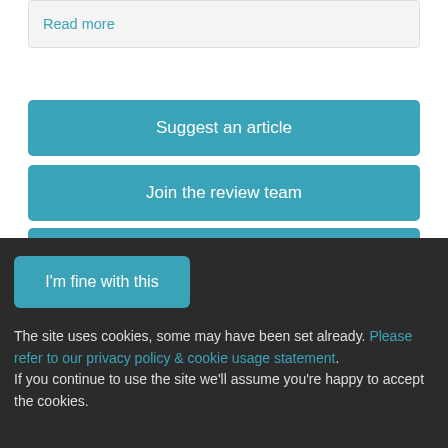Read more
Suggest an article
Join the review team
Ongoing studies
To suggest an alternative classification for an article please email us using our contact page
ORRCA Newsletter
I'm fine with this
The site uses cookies, some may have been set already. Please refer to our privacy policy & cookie usage statement. If you continue to use the site we'll assume you're happy to accept the cookies.